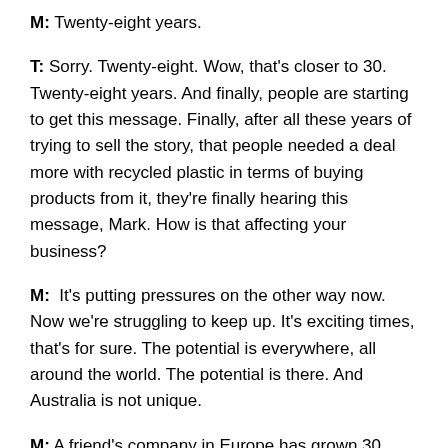M: Twenty-eight years.
T: Sorry. Twenty-eight. Wow, that's closer to 30. Twenty-eight years. And finally, people are starting to get this message. Finally, after all these years of trying to sell the story, that people needed a deal more with recycled plastic in terms of buying products from it, they're finally hearing this message, Mark. How is that affecting your business?
M: It's putting pressures on the other way now. Now we're struggling to keep up. It's exciting times, that's for sure. The potential is everywhere, all around the world. The potential is there. And Australia is not unique.
M: A friend's company in Europe has grown 30 percent year on year for the last two and a half years. Another friend's company in the UK has grown 15 percent year on year, and those sorts of numbers were unheard of. When we first started, of course, we were growing fairly